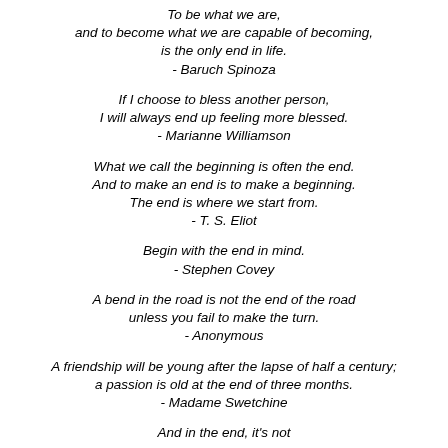To be what we are, and to become what we are capable of becoming, is the only end in life. - Baruch Spinoza
If I choose to bless another person, I will always end up feeling more blessed. - Marianne Williamson
What we call the beginning is often the end. And to make an end is to make a beginning. The end is where we start from. - T. S. Eliot
Begin with the end in mind. - Stephen Covey
A bend in the road is not the end of the road unless you fail to make the turn. - Anonymous
A friendship will be young after the lapse of half a century; a passion is old at the end of three months. - Madame Swetchine
And in the end, it's not